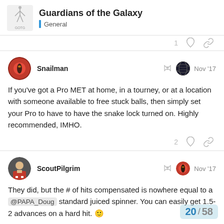Guardians of the Galaxy — General
Snailman  Nov '17
If you've got a Pro MET at home, in a tourney, or at a location with someone available to free stuck balls, then simply set your Pro to have to have the snake lock turned on. Highly recommended, IMHO.
ScoutPilgrim  Nov '17
They did, but the # of hits compensated is nowhere equal to a @PAPA_Doug standard juiced spinner. You can easily get 1.5-2 advances on a hard hit. 🙂
20 / 58